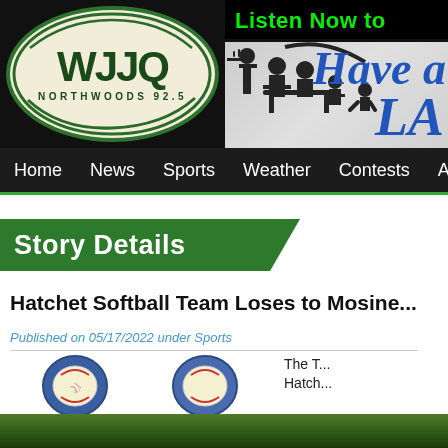[Figure (logo): WJJQ Northwoods 92.5 radio station logo in green oval on black header background]
[Figure (illustration): Advertisement banner showing silhouette of dining family with text 'Have a La...' in blue italic script on gray background, with 'Listen Now to' in green neon text above]
Home  News  Sports  Weather  Contests  Au...
Story Details
Hatchet Softball Team Loses to Mosine...
Published on 05/17/2022 under Sports
The T... Hatch...
[Figure (photo): Softball logo/icon imagery with blue and gold design, partially visible at bottom of page over green grass background]